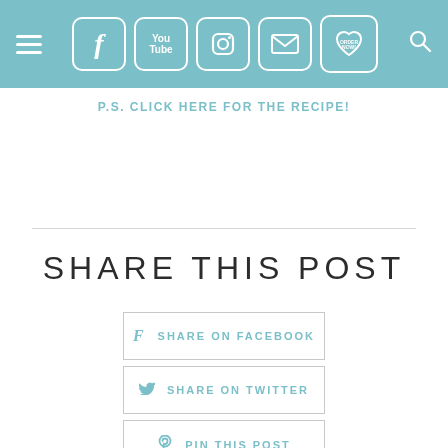Navigation header with hamburger menu, social icons (Facebook, YouTube, Instagram, Email, Order Now), and search icon
P.S. CLICK HERE FOR THE RECIPE!
SHARE THIS POST
f  SHARE ON FACEBOOK
y  SHARE ON TWITTER
@ PIN THIS POST